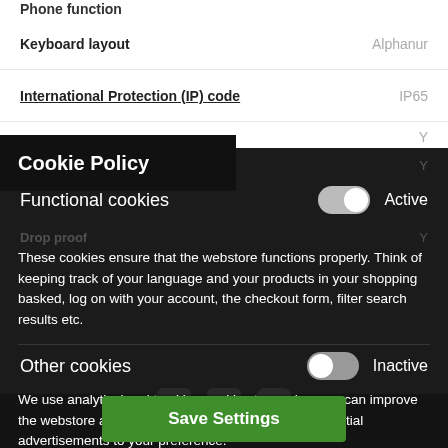Phone function
Keyboard layout — Alphanur
International Protection (IP) code — IP65
Cookie Policy
Functional cookies — Active
Barcode reader — Y
Drop proof — Y
These cookies ensure that the webstore functions properly. Think of keeping track of your language and your products in your shopping basked, log on with your account, the checkout form, filter search results etc.
Other cookies — Inactive
We use analytical and tracking cookies to see how we can improve the webstore and how we can adapt content and potential advertisements to your preference.
Save Settings
Every effort has been made to ensure the accuracy of all information conta... shall not be liable for any changes... duct description, tax code and/or price. The shown information